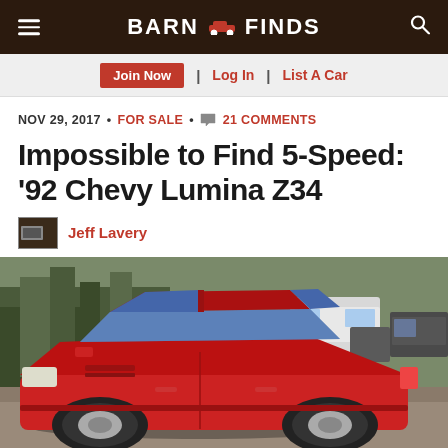BARN FINDS
Join Now | Log In | List A Car
NOV 29, 2017 • FOR SALE • 21 COMMENTS
Impossible to Find 5-Speed: '92 Chevy Lumina Z34
Jeff Lavery
[Figure (photo): Red 1992 Chevy Lumina Z34 coupe parked in a driveway with trees and other vehicles in the background]